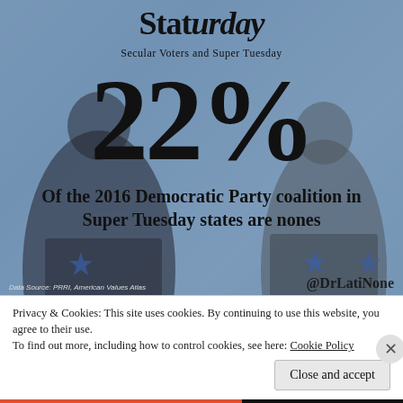[Figure (infographic): Staturday infographic with background photo of two political figures at a debate podium. Large text reads '22%' with subtitle 'Secular Voters and Super Tuesday' and body text 'Of the 2016 Democratic Party coalition in Super Tuesday states are nones'. Data source: PRRI, American Values Atlas. Handle: @DrLatiNone]
Privacy & Cookies: This site uses cookies. By continuing to use this website, you agree to their use.
To find out more, including how to control cookies, see here: Cookie Policy
Close and accept